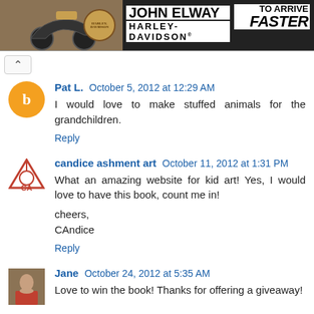[Figure (photo): Harley-Davidson advertisement banner showing a motorcycle, Harley-Davidson shield logo, John Elway Harley-Davidson branding, and 'To Arrive Faster' text]
^ [collapse button]
Pat L. October 5, 2012 at 12:29 AM
I would love to make stuffed animals for the grandchildren.
Reply
candice ashment art October 11, 2012 at 1:31 PM
What an amazing website for kid art! Yes, I would love to have this book, count me in!

cheers,
CAndice
Reply
Jane October 24, 2012 at 5:35 AM
Love to win the book! Thanks for offering a giveaway!